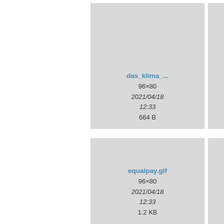[Figure (screenshot): File browser thumbnail grid showing image files with metadata. Row 1: das_klima_... (96×80, 2021/04/18 12:33, 664 B), deine_wahl... (96×80, 2021/04/18 12:33, 596 B), demo.gi... (96×80, 2021/04/18 12:33, 2.3 KB). Row 2: equalpay.gif (96×80, 2021/04/18 12:33, 1.2 KB), fff-fährtbus... (3264×2448, 2021/04/18 12:33, 1.9 MB), fff-heimmi... (3264×2448, 2021/04/18 12:33, 1.5 MB).]